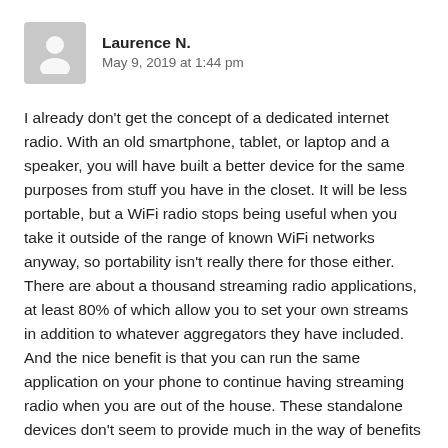[Figure (illustration): Gray avatar icon of a person silhouette on a light gray square background]
Laurence N.
May 9, 2019 at 1:44 pm
I already don't get the concept of a dedicated internet radio. With an old smartphone, tablet, or laptop and a speaker, you will have built a better device for the same purposes from stuff you have in the closet. It will be less portable, but a WiFi radio stops being useful when you take it outside of the range of known WiFi networks anyway, so portability isn't really there for those either. There are about a thousand streaming radio applications, at least 80% of which allow you to set your own streams in addition to whatever aggregators they have included. And the nice benefit is that you can run the same application on your phone to continue having streaming radio when you are out of the house. These standalone devices don't seem to provide much in the way of benefits over the cheaper and equally or in this case more